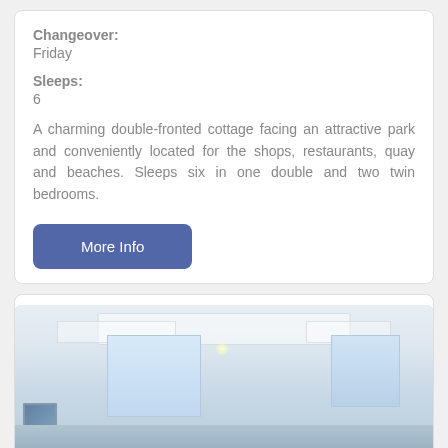Changeover:
Friday
Sleeps:
6
A charming double-fronted cottage facing an attractive park and conveniently located for the shops, restaurants, quay and beaches. Sleeps six in one double and two twin bedrooms.
More Info
[Figure (photo): Interior room photo showing white ceiling with recessed panels and lighting, bright windows, a framed artwork on the wall, and light flooring — a well-lit holiday cottage interior.]